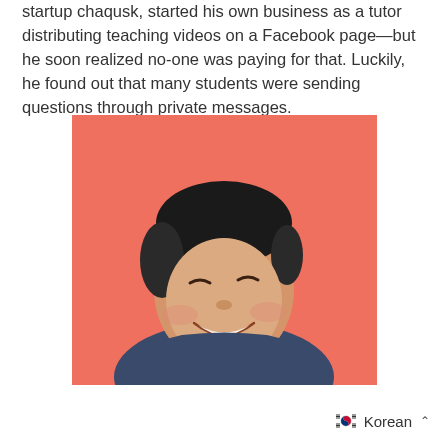startup chaqusk, started his own business as a tutor distributing teaching videos on a Facebook page—but he soon realized no-one was paying for that. Luckily, he found out that many students were sending questions through private messages.
[Figure (photo): Smiling young Asian man in a dark navy sweater against a coral/salmon pink background, laughing and looking to one side.]
Korean ∧